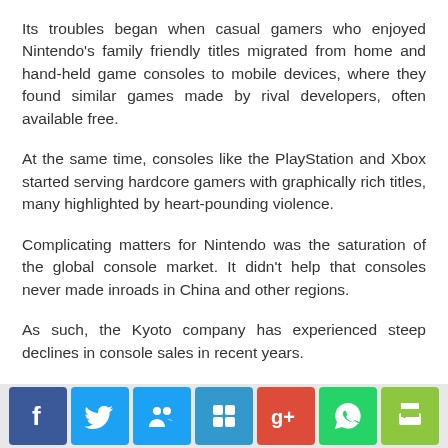Its troubles began when casual gamers who enjoyed Nintendo's family friendly titles migrated from home and hand-held game consoles to mobile devices, where they found similar games made by rival developers, often available free.
At the same time, consoles like the PlayStation and Xbox started serving hardcore gamers with graphically rich titles, many highlighted by heart-pounding violence.
Complicating matters for Nintendo was the saturation of the global console market. It didn't help that consoles never made inroads in China and other regions.
As such, the Kyoto company has experienced steep declines in console sales in recent years.
In 2008, no home video game console was more popular than the Nintendo Wii, with 24.19 million units sold. By 2014, only 530,000 of them were sold, fewer than the Xbox One, Xbox 360, PlayStation 3 and PlayStation 4, according to data
[Figure (other): Social media sharing toolbar with icons for Facebook, Twitter, social group, Delicious, Google+, WhatsApp, and print]